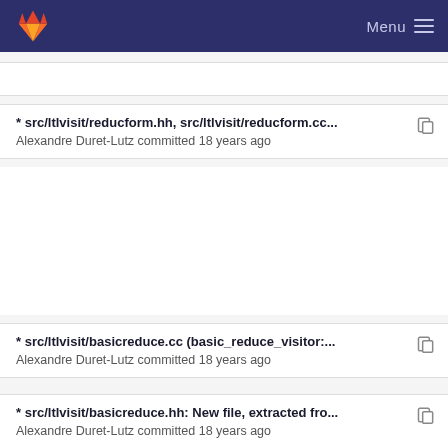GitLab — Menu
* src/ltlvisit/reducform.hh, src/ltlvisit/reducform.cc...
Alexandre Duret-Lutz committed 18 years ago
* src/ltlvisit/basicreduce.cc (basic_reduce_visitor:...
Alexandre Duret-Lutz committed 18 years ago
* src/ltlvisit/basicreduce.hh: New file, extracted fro...
Alexandre Duret-Lutz committed 18 years ago